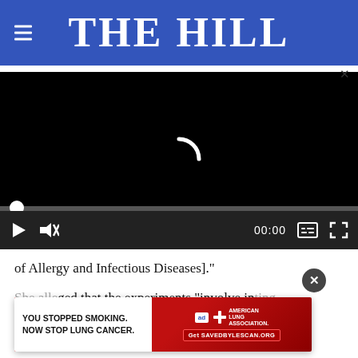THE HILL
[Figure (screenshot): Embedded video player with black background, loading spinner (white arc), progress bar with white circle handle at left, and video controls bar at bottom showing play button, mute button, time display 00:00, captions button, and fullscreen button]
of Allergy and Infectious Diseases]."
She alleged that the experiments "involve injecting the pr... ses and withholding pain relief.
[Figure (screenshot): Advertisement banner for American Lung Association: white text block on left reads 'YOU STOPPED SMOKING. NOW STOP LUNG CANCER.' Red background on right with 'ad' badge, American Lung Association logo, and CTA button 'Get SAVEDBYLESCAN.ORG']